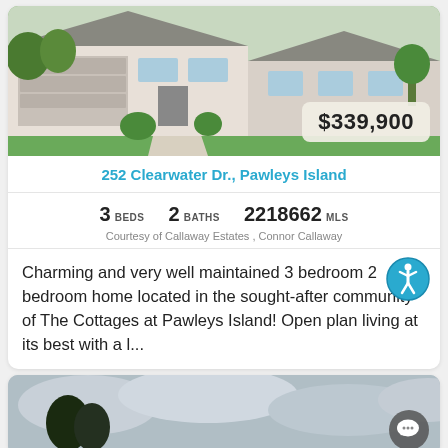[Figure (photo): Exterior photo of a single-story house with garage, green lawn, and concrete driveway]
$339,900
252 Clearwater Dr., Pawleys Island
3 BEDS   2 BATHS   2218662 MLS
Courtesy of Callaway Estates , Connor Callaway
Charming and very well maintained 3 bedroom 2 bedroom home located in the sought-after community of The Cottages at Pawleys Island! Open plan living at its best with a l...
[Figure (photo): Partial exterior photo of another property listing with cloudy sky]